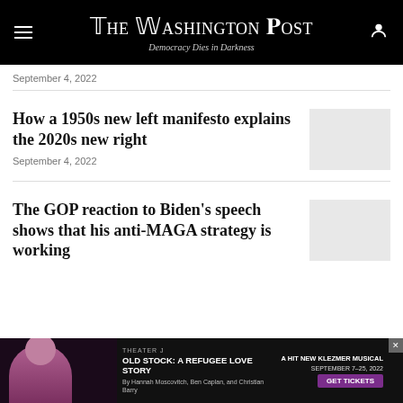The Washington Post — Democracy Dies in Darkness
September 4, 2022
How a 1950s new left manifesto explains the 2020s new right
September 4, 2022
The GOP reaction to Biden's speech shows that his anti-MAGA strategy is working
[Figure (photo): Advertisement: Theater J — Old Stock: A Refugee Love Story]